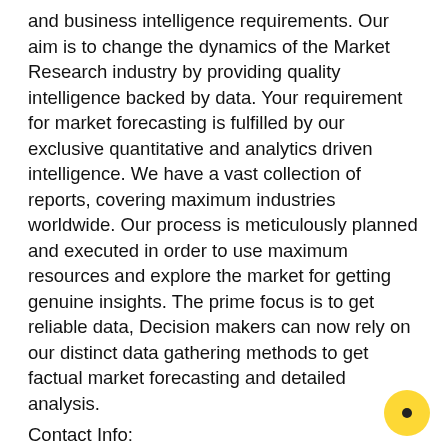and business intelligence requirements. Our aim is to change the dynamics of the Market Research industry by providing quality intelligence backed by data. Your requirement for market forecasting is fulfilled by our exclusive quantitative and analytics driven intelligence. We have a vast collection of reports, covering maximum industries worldwide. Our process is meticulously planned and executed in order to use maximum resources and explore the market for getting genuine insights. The prime focus is to get reliable data, Decision makers can now rely on our distinct data gathering methods to get factual market forecasting and detailed analysis.
Contact Info:
Name: Jay Matthews
Email: Send Email